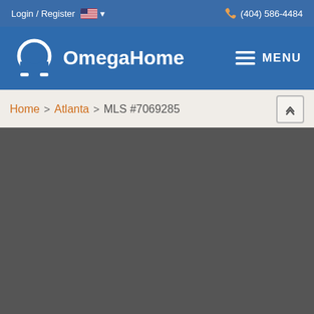Login / Register  (404) 586-4484
[Figure (logo): OmegaHome logo with omega symbol and text, plus MENU hamburger icon]
Home > Atlanta > MLS #7069285
[Figure (photo): Dark grey image area, likely a property photo loading area]